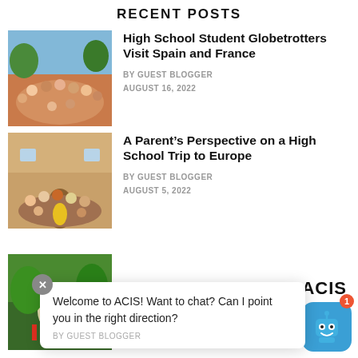RECENT POSTS
[Figure (photo): Group photo of high school students outdoors, sunny day]
High School Student Globetrotters Visit Spain and France
BY GUEST BLOGGER
AUGUST 16, 2022
[Figure (photo): Group of adults and students standing in front of a building]
A Parent's Perspective on a High School Trip to Europe
BY GUEST BLOGGER
AUGUST 5, 2022
[Figure (photo): Decorative food or cultural item with flags]
Welcome to ACIS! Want to chat? Can I point you in the right direction?
BY GUEST BLOGGER